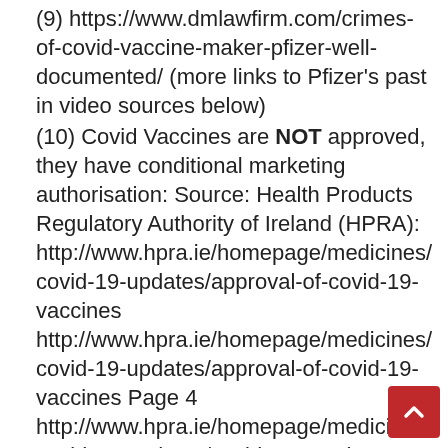(9) https://www.dmlawfirm.com/crimes-of-covid-vaccine-maker-pfizer-well-documented/ (more links to Pfizer's past in video sources below)
(10) Covid Vaccines are NOT approved, they have conditional marketing authorisation: Source: Health Products Regulatory Authority of Ireland (HPRA): http://www.hpra.ie/homepage/medicines/covid-19-updates/approval-of-covid-19-vaccines http://www.hpra.ie/homepage/medicines/covid-19-updates/approval-of-covid-19-vaccines Page 4 http://www.hpra.ie/homepage/medicines/covid-19-updates/covid-19-vaccine-communications
(11) https://www.independent.ie/irish-news/holohan-warns-boosters-not-approved-